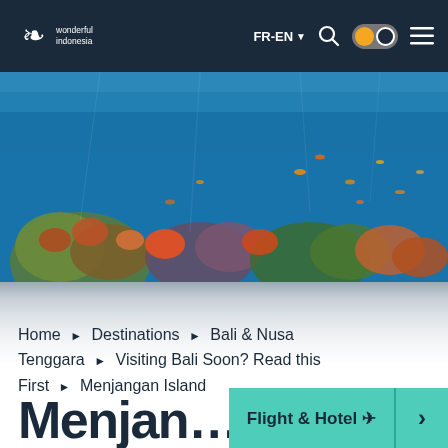wonderful indonesia | FR-EN | [search] [toggle] [menu]
[Figure (photo): Underwater coral reef scene with fish and blue water, viewed from below surface]
Home ► Destinations ► Bali & Nusa Tenggara ► Visiting Bali Soon? Read this First ► Menjangan Island
Flight & Hotel ✈ ›
Menjan…